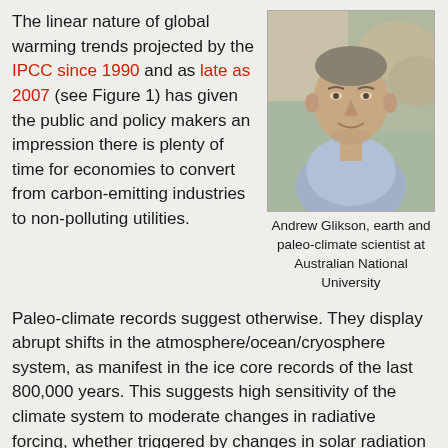The linear nature of global warming trends projected by the IPCC since 1990 and as late as 2007 (see Figure 1) has given the public and policy makers an impression there is plenty of time for economies to convert from carbon-emitting industries to non-polluting utilities.
[Figure (photo): Portrait photo of Andrew Glikson, an older man in a light blue shirt, photographed outdoors.]
Andrew Glikson, earth and paleo-climate scientist at Australian National University
Paleo-climate records suggest otherwise. They display abrupt shifts in the atmosphere/ocean/cryosphere system, as manifest in the ice core records of the last 800,000 years. This suggests high sensitivity of the climate system to moderate changes in radiative forcing, whether triggered by changes in solar radiation energy or the thermal properties of greenhouse gases or aerosols. In some instances these shifts have happened over periods as short as centuries to decades, and even over a few years.